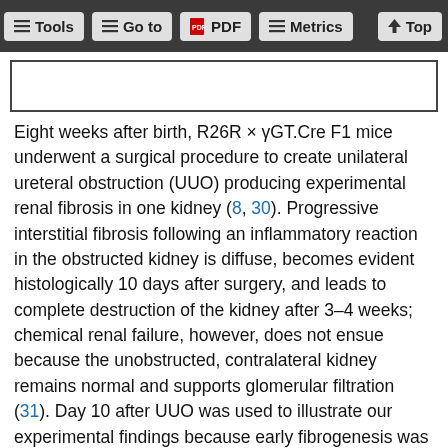Tools  Go to  PDF  Metrics  Top
[Figure (other): White rectangular image box with black border, partially visible at top of content area]
Eight weeks after birth, R26R × γGT.Cre F1 mice underwent a surgical procedure to create unilateral ureteral obstruction (UUO) producing experimental renal fibrosis in one kidney (8, 30). Progressive interstitial fibrosis following an inflammatory reaction in the obstructed kidney is diffuse, becomes evident histologically 10 days after surgery, and leads to complete destruction of the kidney after 3–4 weeks; chemical renal failure, however, does not ensue because the unobstructed, contralateral kidney remains normal and supports glomerular filtration (31). Day 10 after UUO was used to illustrate our experimental findings because early fibrogenesis was demonstrable at this time, but anatomical landmarks were still identifiable. At that time both